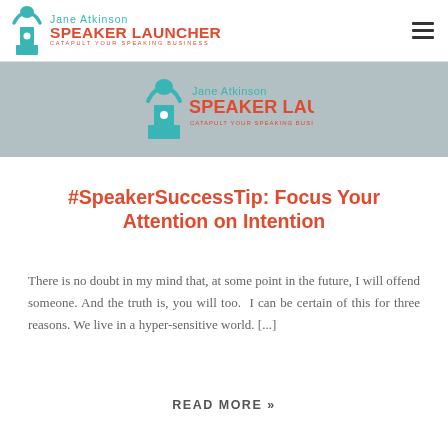Jane Atkinson SPEAKER LAUNCHER CATAPULT YOUR SPEAKING BUSINESS
[Figure (logo): Jane Atkinson Speaker Launcher logo on grey banner background]
#SpeakerSuccessTip: Focus Your Attention on Intention
There is no doubt in my mind that, at some point in the future, I will offend someone. And the truth is, you will too.  I can be certain of this for three reasons. We live in a hyper-sensitive world. [...]
READ MORE »